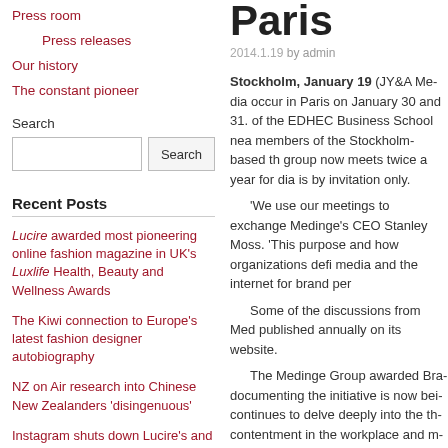Press room
Press releases
Our history
The constant pioneer
Search
Recent Posts
Lucire awarded most pioneering online fashion magazine in UK's Luxlife Health, Beauty and Wellness Awards
The Kiwi connection to Europe's latest fashion designer autobiography
NZ on Air research into Chinese New Zealanders 'disingenuous'
Instagram shuts down Lucire's and
Paris
2014.1.19 by admin
Stockholm, January 19 (JY&A Me­dia occur in Paris on January 30 and 31. of the EDHEC Business School nea­ members of the Stockholm-based th­ group now meets twice a year for dia­ is by invitation only.
‘We use our meetings to exchange Medinge’s CEO Stanley Moss. ‘This purpose and how organizations defi­ media and the internet for brand per­

Some of the discussions from Med­ published annually on its website.

The Medinge Group awarded Bra­ documenting the initiative is now bei­ continues to delve deeply into the th­ contentment in the workplace and m­ practices and new paradigms for bra­
Images